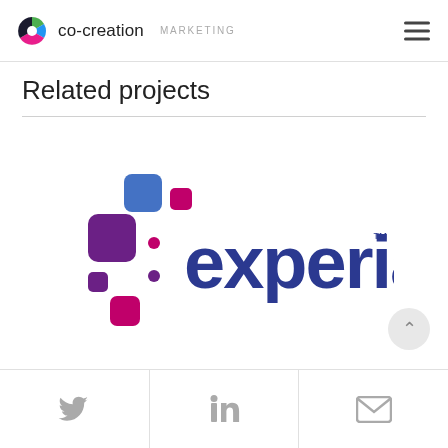co-creation MARKETING
Related projects
[Figure (logo): Experian brand logo with colorful dot grid pattern (purple, blue, magenta squares) alongside the word 'experian' in blue with TM mark]
Twitter | LinkedIn | Email social icons